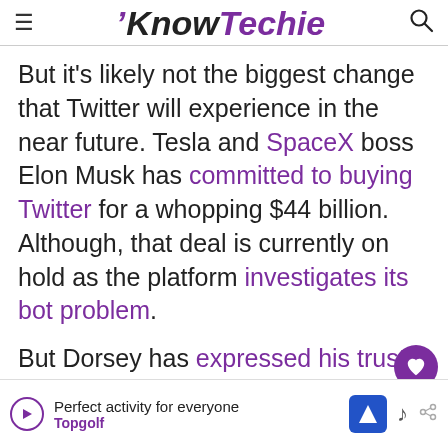KnowTechie
But it’s likely not the biggest change that Twitter will experience in the near future. Tesla and SpaceX boss Elon Musk has committed to buying Twitter for a whopping $44 billion. Although, that deal is currently on hold as the platform investigates its bot problem.
But Dorsey has expressed his trust in M...
[Figure (other): Advertisement banner for Topgolf: Perfect activity for everyone]